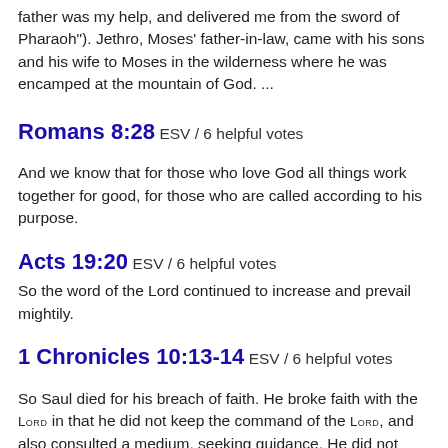father was my help, and delivered me from the sword of Pharaoh"). Jethro, Moses' father-in-law, came with his sons and his wife to Moses in the wilderness where he was encamped at the mountain of God. ...
Romans 8:28 ESV / 6 helpful votes
And we know that for those who love God all things work together for good, for those who are called according to his purpose.
Acts 19:20 ESV / 6 helpful votes
So the word of the Lord continued to increase and prevail mightily.
1 Chronicles 10:13-14 ESV / 6 helpful votes
So Saul died for his breach of faith. He broke faith with the Lord in that he did not keep the command of the Lord, and also consulted a medium, seeking guidance. He did not seek guidance from the Lord. Therefore the Lord put him to death and turned the kingdom over to David the son of Jesse.